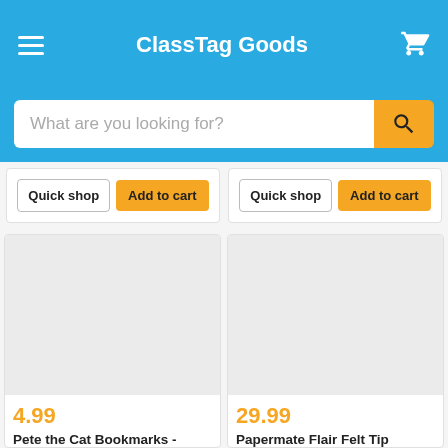ClassTag Goods
What are you looking for?
Quick shop | Add to cart (left card)
Quick shop | Add to cart (right card)
[Figure (screenshot): Product image placeholder (light gray rectangle) for Pete the Cat Bookmarks]
4.99
Pete the Cat Bookmarks -
[Figure (screenshot): Product image placeholder (light gray rectangle) for Papermate Flair Felt Tip]
29.99
Papermate Flair Felt Tip